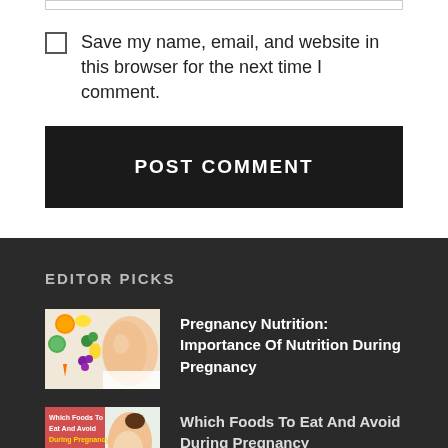Save my name, email, and website in this browser for the next time I comment.
POST COMMENT
EDITOR PICKS
Pregnancy Nutrition: Importance Of Nutrition During Pregnancy
Which Foods To Eat And Avoid During Pregnancy